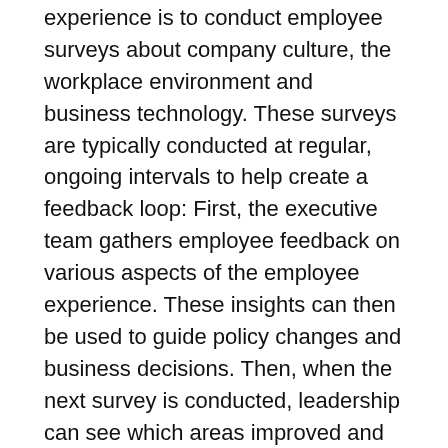experience is to conduct employee surveys about company culture, the workplace environment and business technology. These surveys are typically conducted at regular, ongoing intervals to help create a feedback loop: First, the executive team gathers employee feedback on various aspects of the employee experience. These insights can then be used to guide policy changes and business decisions. Then, when the next survey is conducted, leadership can see which areas improved and what may need to be addressed next.
Another way to measure the employee experience is to analyze existing organizational data. For example, if part of a company's EX strategy involves a digital workspace and virtualization technology,